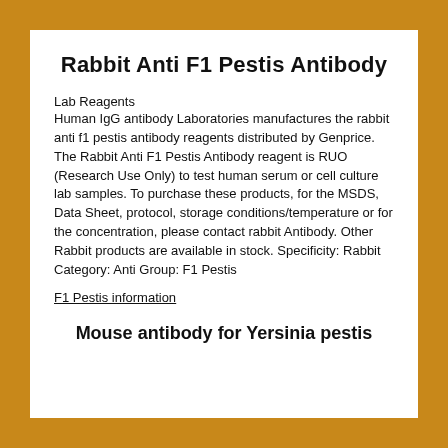Rabbit Anti F1 Pestis Antibody
Lab Reagents
Human IgG antibody Laboratories manufactures the rabbit anti f1 pestis antibody reagents distributed by Genprice. The Rabbit Anti F1 Pestis Antibody reagent is RUO (Research Use Only) to test human serum or cell culture lab samples. To purchase these products, for the MSDS, Data Sheet, protocol, storage conditions/temperature or for the concentration, please contact rabbit Antibody. Other Rabbit products are available in stock. Specificity: Rabbit Category: Anti Group: F1 Pestis
F1 Pestis information
Mouse antibody for Yersinia pestis